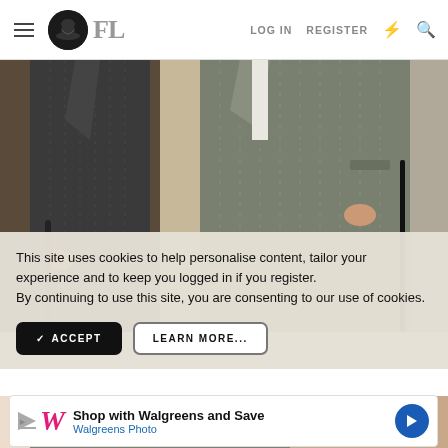FL — LOG IN  REGISTER
[Figure (photo): Illustration of two men in pinstripe suits, visible from chest to knees, one holding a cane or umbrella — vintage fashion editorial image]
This site uses cookies to help personalise content, tailor your experience and to keep you logged in if you register.
By continuing to use this site, you are consenting to our use of cookies.
✓ ACCEPT    LEARN MORE...
[Figure (photo): Continuation of vintage suit illustration, lower portion showing legs in pinstripe trousers]
[Figure (other): Walgreens advertisement: Shop with Walgreens and Save — Walgreens Photo]